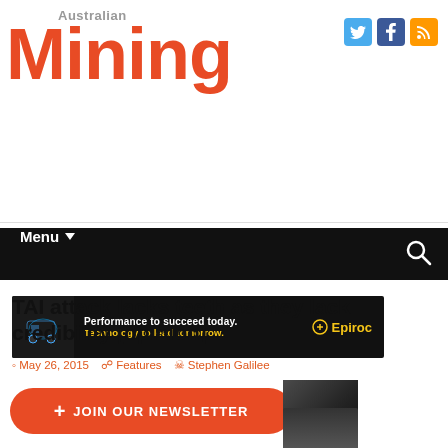Australian Mining
[Figure (screenshot): Epiroc advertisement banner: dark background with glowing mining truck, text 'Performance to succeed today. Technology to lead tomorrow.' with Epiroc logo in yellow]
TAI attack lacks teeth as they lack credibility [opinion]
May 26, 2015   Features   Stephen Galilee
[Figure (illustration): Orange rounded-rectangle CTA button: '+ JOIN OUR NEWSLETTER', with partial mining site image at bottom right and reCAPTCHA Privacy/Terms box]